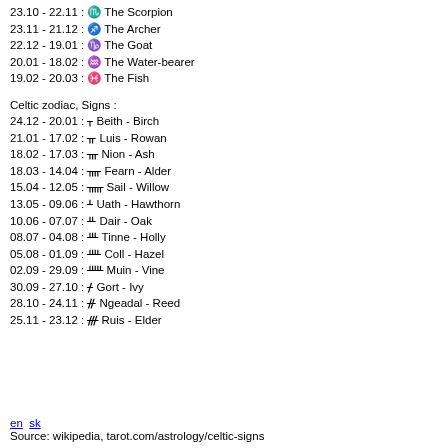23.10 - 22.11 : ♏ The Scorpion
23.11 - 21.12 : ♐ The Archer
22.12 - 19.01 : ♑ The Goat
20.01 - 18.02 : ♒ The Water-bearer
19.02 - 20.03 : ♓ The Fish
Celtic zodiac, Signs :
24.12 - 20.01 : ᚁ Beith - Birch
21.01 - 17.02 : ᚂ Luis - Rowan
18.02 - 17.03 : ᚃ Nion - Ash
18.03 - 14.04 : ᚄ Fearn - Alder
15.04 - 12.05 : ᚅ Sail - Willow
13.05 - 09.06 : ᚆ Uath - Hawthorn
10.06 - 07.07 : ᚇ Dair - Oak
08.07 - 04.08 : ᚈ Tinne - Holly
05.08 - 01.09 : ᚉ Coll - Hazel
02.09 - 29.09 : ᚊ Muin - Vine
30.09 - 27.10 : ᚋ Gort - Ivy
28.10 - 24.11 : ᚌ Ngeadal - Reed
25.11 - 23.12 : ᚍ Ruis - Elder
en  sk
Source: wikipedia, tarot.com/astrology/celtic-signs